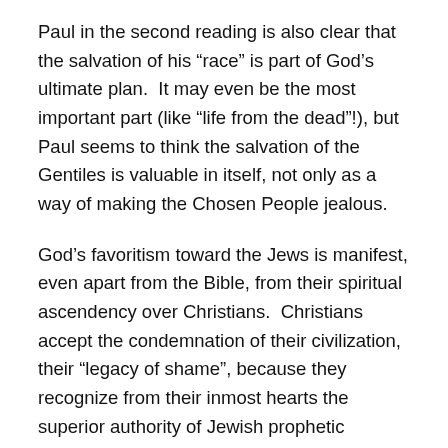Paul in the second reading is also clear that the salvation of his “race” is part of God’s ultimate plan.  It may even be the most important part (like “life from the dead”!), but Paul seems to think the salvation of the Gentiles is valuable in itself, not only as a way of making the Chosen People jealous.
God’s favoritism toward the Jews is manifest, even apart from the Bible, from their spiritual ascendency over Christians.  Christians accept the condemnation of their civilization, their “legacy of shame”, because they recognize from their inmost hearts the superior authority of Jewish prophetic revolutionary moral critique.  Unlike the case of Catholics, no one has to worry about whether there will still be Jews in a hundred years.
The danger of trading tribal deities for monotheism is that,